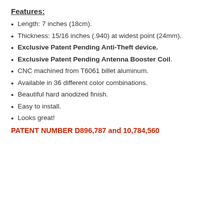Features:
Length: 7 inches (18cm).
Thickness: 15/16 inches (.940) at widest point (24mm).
Exclusive Patent Pending Anti-Theft device.
Exclusive Patent Pending Antenna Booster Coil.
CNC machined from T6061 billet aluminum.
Available in 36 different color combinations.
Beautiful hard anodized finish.
Easy to install.
Looks great!
PATENT NUMBER D896,787 and 10,784,560